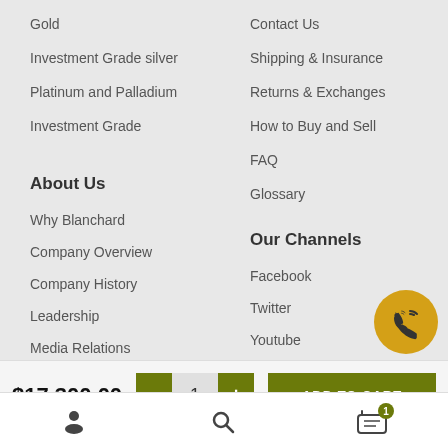Gold
Investment Grade silver
Platinum and Palladium
Investment Grade
Contact Us
Shipping & Insurance
Returns & Exchanges
How to Buy and Sell
FAQ
Glossary
About Us
Why Blanchard
Company Overview
Company History
Leadership
Media Relations
Our Channels
Facebook
Twitter
Youtube
LinkedIn
Instagram
$17,300.00
ADD TO CART